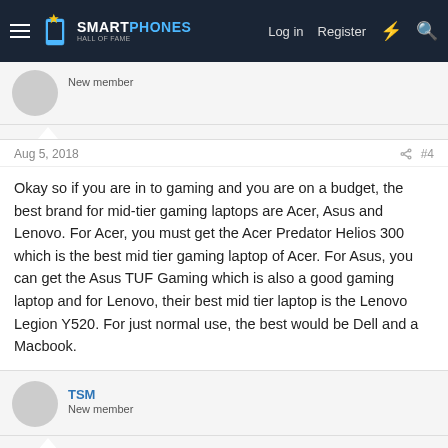SMARTPHONES — Log in | Register
New member
Aug 5, 2018  #4
Okay so if you are in to gaming and you are on a budget, the best brand for mid-tier gaming laptops are Acer, Asus and Lenovo. For Acer, you must get the Acer Predator Helios 300 which is the best mid tier gaming laptop of Acer. For Asus, you can get the Asus TUF Gaming which is also a good gaming laptop and for Lenovo, their best mid tier laptop is the Lenovo Legion Y520. For just normal use, the best would be Dell and a Macbook.
TSM
New member
Aug 5, 2018  #5